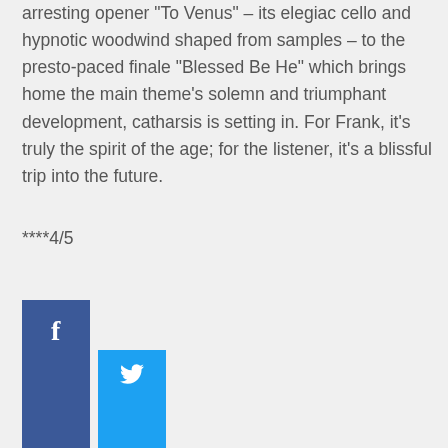arresting opener “To Venus” – its elegiac cello and hypnotic woodwind shaped from samples – to the presto-paced finale “Blessed Be He” which brings home the main theme’s solemn and triumphant development, catharsis is setting in. For Frank, it’s truly the spirit of the age; for the listener, it’s a blissful trip into the future.
****4/5
[Figure (other): Facebook share button (dark blue rectangle with white 'f' icon) and Twitter share button (light blue rectangle with white bird icon)]